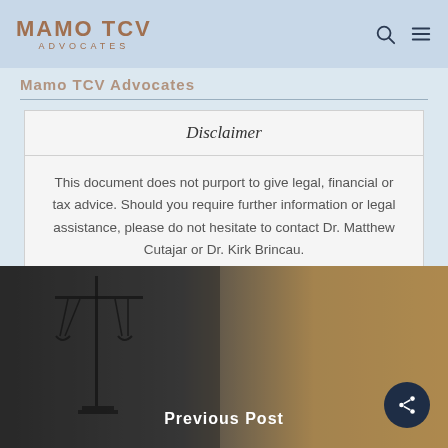MAMO TCV ADVOCATES
Mamo TCV Advocates
Disclaimer
This document does not purport to give legal, financial or tax advice. Should you require further information or legal assistance, please do not hesitate to contact Dr. Matthew Cutajar or Dr. Kirk Brincau.
[Figure (photo): Background photo of Lady Justice scales silhouette with a person in professional attire, warm golden tones on the right side]
Previous Post